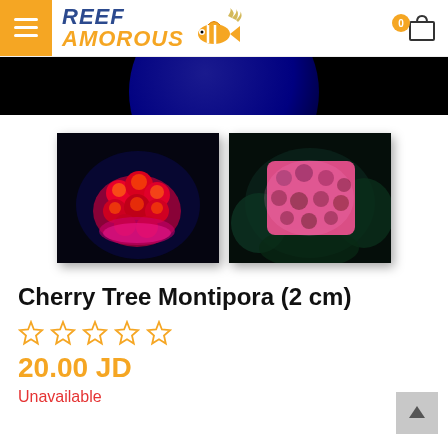Reef Amorous
[Figure (photo): Two photos of Cherry Tree Montipora coral: left shows a bright red/orange coral cluster on black background under blue UV light; right shows a pink coral piece on dark background with greenish surroundings.]
Cherry Tree Montipora (2 cm)
☆ ☆ ☆ ☆ ☆
20.00 JD
Unavailable